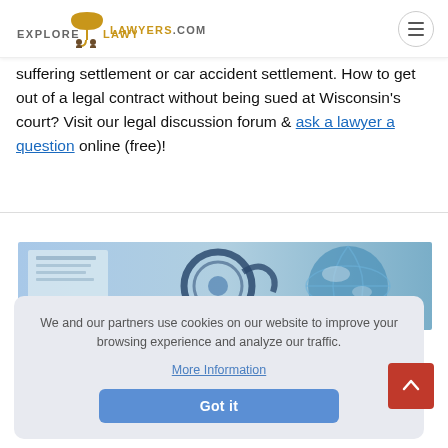EXPLORE LAWYERS.COM
suffering settlement or car accident settlement. How to get out of a legal contract without being sued at Wisconsin's court? Visit our legal discussion forum & ask a lawyer a question online (free)!
[Figure (photo): Banner image showing a stethoscope on documents and a globe, suggesting legal/medical topics]
We and our partners use cookies on our website to improve your browsing experience and analyze our traffic. More Information Got it